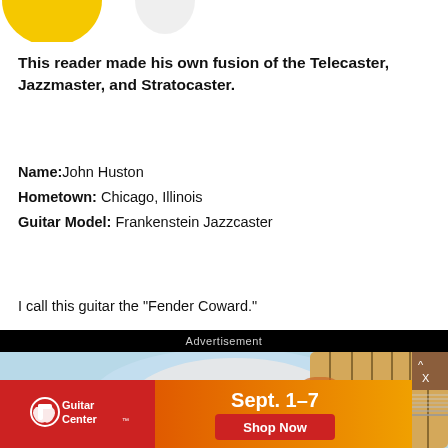[Figure (illustration): Partial yellow circle logo visible at top of page]
This reader made his own fusion of the Telecaster, Jazzmaster, and Stratocaster.
Name: John Huston
Hometown: Chicago, Illinois
Guitar Model: Frankenstein Jazzcaster
I call this guitar the "Fender Coward."
Advertisement
[Figure (photo): Guitar Center advertisement showing a close-up of an electric guitar (light blue body with maple neck) and a Guitar Center promotional banner for Sept. 1-7 with Shop Now button]